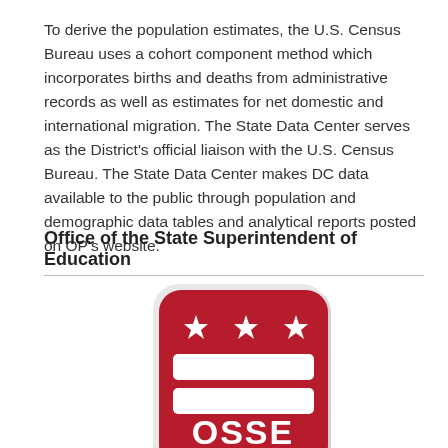To derive the population estimates, the U.S. Census Bureau uses a cohort component method which incorporates births and deaths from administrative records as well as estimates for net domestic and international migration. The State Data Center serves as the District's official liaison with the U.S. Census Bureau. The State Data Center makes DC data available to the public through population and demographic data tables and analytical reports posted on OP's website.
Office of the State Superintendent of Education
[Figure (logo): OSSE logo — a red rounded-rectangle badge with three white stars across the top, two white horizontal bars in the middle, and the text OSSE in white at the bottom.]